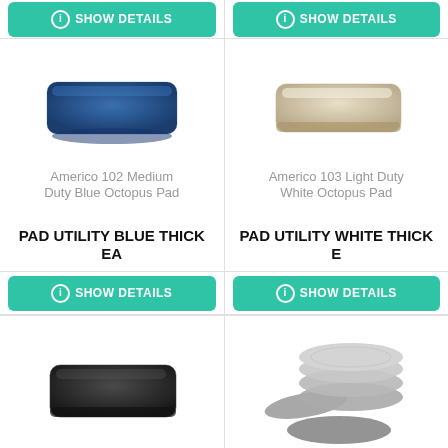[Figure (photo): Show Details button top-left]
[Figure (photo): Show Details button top-right]
[Figure (photo): Blue rectangular scrubbing pad - Americo 102 Medium Duty Blue Octopus Pad]
Americo 102 Medium Duty Blue Octopus Pad
PAD UTILITY BLUE THICK EA
[Figure (photo): White/beige rectangular scrubbing pad - Americo 103 Light Duty White Octopus Pad]
Americo 103 Light Duty White Octopus Pad
PAD UTILITY WHITE THICK E
[Figure (photo): Show Details button for blue pad]
[Figure (photo): Show Details button for white pad]
[Figure (photo): Black rectangular scrubbing pad]
[Figure (photo): Gray circular/stacked pads]